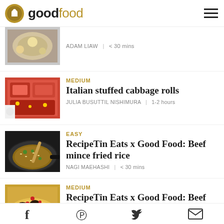goodfood
ADAM LIAW | < 30 mins
MEDIUM
Italian stuffed cabbage rolls
JULIA BUSUTTIL NISHIMURA | 1-2 hours
EASY
RecipeTin Eats x Good Food: Beef mince fried rice
NAGI MAEHASHI | < 30 mins
MEDIUM
RecipeTin Eats x Good Food: Beef koftas with Persian jewelled rice
NAGI MAEHASHI | ...
f  p  twitter  mail